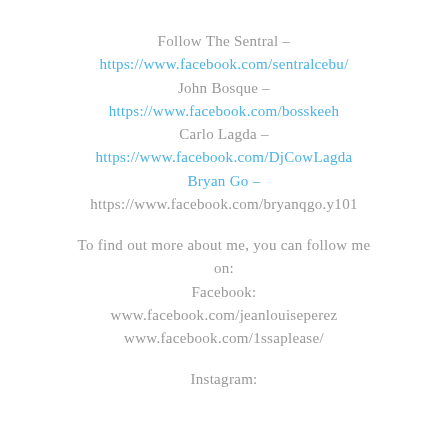Follow The Sentral – https://www.facebook.com/sentralcebu/
John Bosque – https://www.facebook.com/bosskeeh
Carlo Lagda – https://www.facebook.com/DjCowLagda
Bryan Go – https://www.facebook.com/bryanqgo.y101
To find out more about me, you can follow me on:
Facebook:
www.facebook.com/jeanlouiseperez
www.facebook.com/1ssaplease/
Instagram: